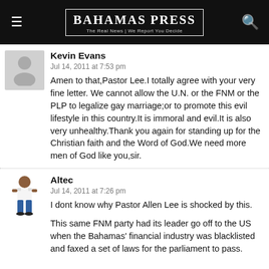Bahamas Press — The Real News | We Report You Decide
Kevin Evans
Jul 14, 2011 at 7:53 pm
Amen to that,Pastor Lee.I totally agree with your very fine letter. We cannot allow the U.N. or the FNM or the PLP to legalize gay marriage;or to promote this evil lifestyle in this country.It is immoral and evil.It is also very unhealthy.Thank you again for standing up for the Christian faith and the Word of God.We need more men of God like you,sir.
Altec
Jul 14, 2011 at 7:26 pm
I dont know why Pastor Allen Lee is shocked by this.
This same FNM party had its leader go off to the US when the Bahamas' financial industry was blacklisted and faxed a set of laws for the parliament to pass.